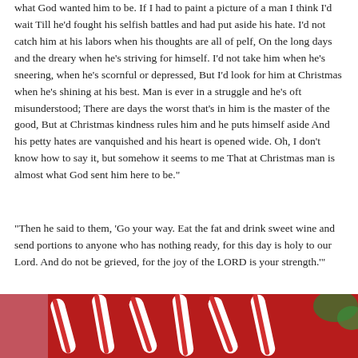what God wanted him to be. If I had to paint a picture of a man I think I'd wait Till he'd fought his selfish battles and had put aside his hate. I'd not catch him at his labors when his thoughts are all of pelf, On the long days and the dreary when he's striving for himself. I'd not take him when he's sneering, when he's scornful or depressed, But I'd look for him at Christmas when he's shining at his best. Man is ever in a struggle and he's oft misunderstood; There are days the worst that's in him is the master of the good, But at Christmas kindness rules him and he puts himself aside And his petty hates are vanquished and his heart is opened wide. Oh, I don't know how to say it, but somehow it seems to me That at Christmas man is almost what God sent him here to be."
“Then he said to them, ‘Go your way. Eat the fat and drink sweet wine and send portions to anyone who has nothing ready, for this day is holy to our Lord. And do not be grieved, for the joy of the LORD is your strength.’”
[Figure (photo): Photo of candy canes and Christmas decorations on a red background]